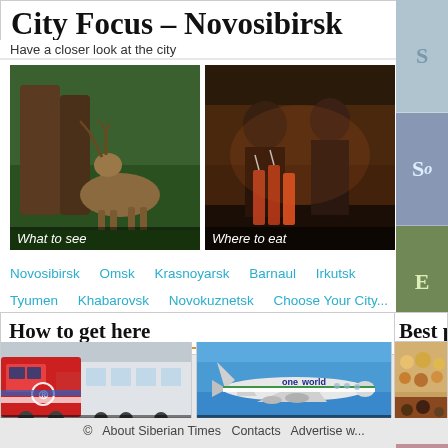City Focus – Novosibirsk
Have a closer look at the city
[Figure (photo): Three photos: deer in forest (What to see), women at bar with drinks (Where to eat), hotel food and cocktails (Where to stay)]
Novosibirsk   Omsk   Krasnoyarsk   Barnaul   Irkutsk   Tyumen   Khabarovsk   Novokuznetsk   Choose Your City...
How to get here
[Figure (photo): Train photo with label 'Trains']
[Figure (photo): Airplane (oneworld livery) photo with label 'Flights']
Best property
[Figure (photo): Hotel food/pastry display with label 'Hotel Revolution']
©   About Siberian Times   Contacts   Advertise w...